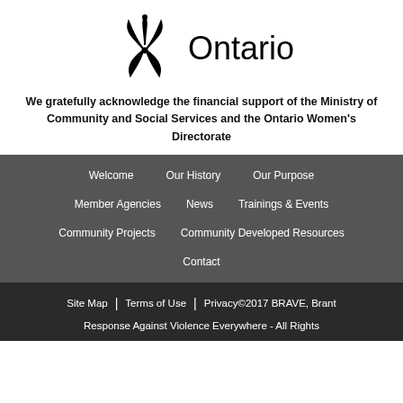[Figure (logo): Ontario government logo with trillium symbol and the word Ontario]
We gratefully acknowledge the financial support of the Ministry of Community and Social Services and the Ontario Women's Directorate
Welcome
Our History
Our Purpose
Member Agencies
News
Trainings & Events
Community Projects
Community Developed Resources
Contact
Site Map | Terms of Use | Privacy©2017 BRAVE, Brant Response Against Violence Everywhere - All Rights